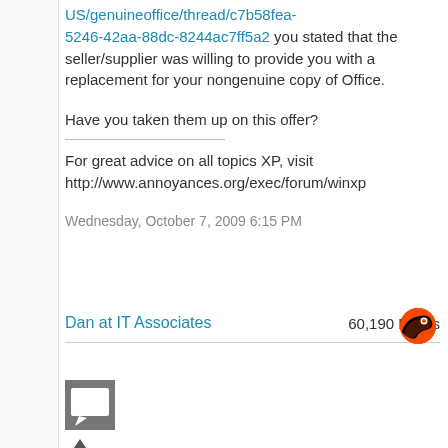US/genuineoffice/thread/c7b58fea-5246-42aa-88dc-8244ac7ff5a2 you stated that the seller/supplier was willing to provide you with a replacement for your nongenuine copy of Office.
Have you taken them up on this offer?
For great advice on all topics XP, visit http://www.annoyances.org/exec/forum/winxp
Wednesday, October 7, 2009 6:15 PM
Dan at IT Associates  60,190 Points
[Figure (logo): Philadelphia Flyers NHL team logo - orange circle with black wing/skate design]
[Figure (other): Grey square comment/reply icon button]
[Figure (other): Upvote arrow triangle]